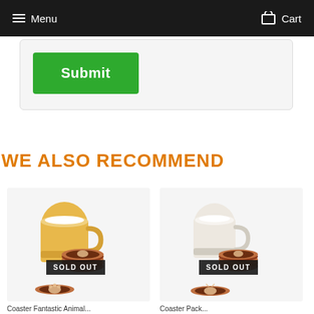Menu  Cart
[Figure (screenshot): Green Submit button inside a light grey rounded card/form area]
WE ALSO RECOMMEND
[Figure (photo): Yellow mug with wooden coasters showing paw print design, with SOLD OUT badge]
[Figure (photo): White mug with wooden coasters showing deer/animal design, with SOLD OUT badge]
Coaster Fantastic Animal...
Coaster Pack...